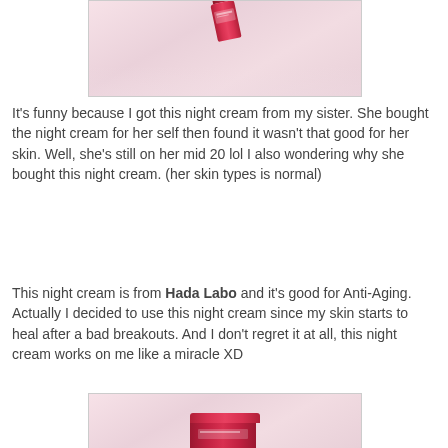[Figure (photo): Photo of a Hada Labo night cream product (tube) on pink/white fabric background, cropped top portion showing the top of the image]
It's funny because I got this night cream from my sister. She bought the night cream for her self then found it wasn't that good for her skin. Well, she's still on her mid 20 lol I also wondering why she bought this night cream. (her skin types is normal)
This night cream is from Hada Labo and it's good for Anti-Aging. Actually I decided to use this night cream since my skin starts to heal after a bad breakouts. And I don't regret it at all, this night cream works on me like a miracle XD
[Figure (photo): Photo of a Hada Labo night cream product (jar/container) on pink/white fabric background, cropped bottom portion]